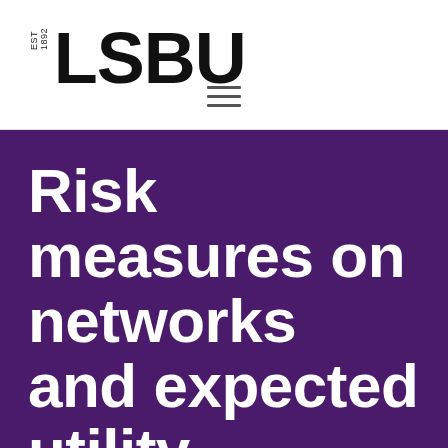EST 1892 LSBU
Risk measures on networks and expected utility
Journal article